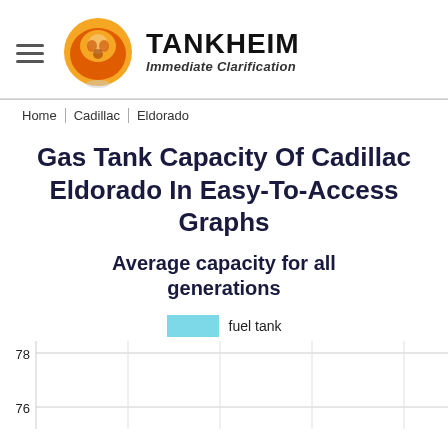TANKHEIM Immediate Clarification
Home | Cadillac | Eldorado
Gas Tank Capacity Of Cadillac Eldorado In Easy-To-Access Graphs
Average capacity for all generations
[Figure (bar-chart): Bar chart showing fuel tank capacity for Cadillac Eldorado generations, y-axis visible with values 76 and 78, chart partially cut off]